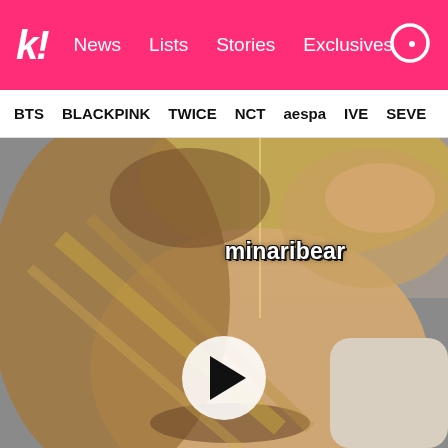k! News Lists Stories Exclusives
BTS BLACKPINK TWICE NCT aespa IVE SEVE
[Figure (photo): Close-up video still of a person with blonde/brown hair touching their hair, with TikTok watermark 'minaribear' overlaid in white bold text with dark outline. A white circular play button is visible in the lower center of the image.]